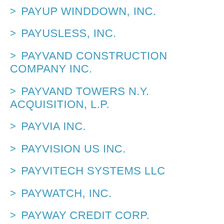PAYUP WINDDOWN, INC.
PAYUSLESS, INC.
PAYVAND CONSTRUCTION COMPANY INC.
PAYVAND TOWERS N.Y. ACQUISITION, L.P.
PAYVIA INC.
PAYVISION US INC.
PAYVITECH SYSTEMS LLC
PAYWATCH, INC.
PAYWAY CREDIT CORP.
PAYWAY, INC.
PAYWAYLESS AUTO SALES INC.